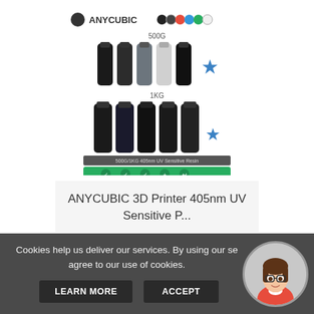[Figure (screenshot): ANYCUBIC product listing showing resin bottles in 500g and 1KG variants with color swatches and product image]
ANYCUBIC 3D Printer 405nm UV Sensitive P...
£14.99
[Figure (other): 5 gold star rating]
VIEW
BUY ON EBAY
Cookies help us deliver our services. By using our se... agree to our use of cookies.
LEARN MORE
ACCEPT
[Figure (illustration): Female avatar with glasses and red top in a circular frame]